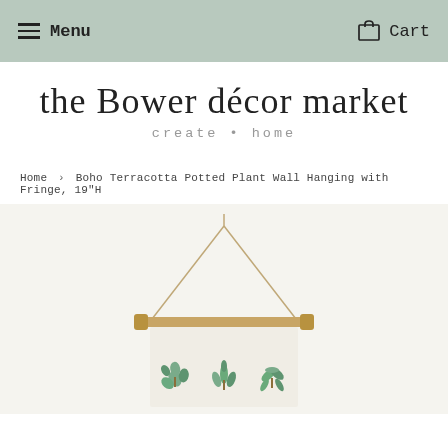Menu   Cart
the Bower décor market
create • home
Home › Boho Terracotta Potted Plant Wall Hanging with Fringe, 19"H
[Figure (photo): Boho terracotta potted plant wall hanging with fringe, showing a fabric banner with illustrated green potted plants hanging from a wooden dowel with rope]